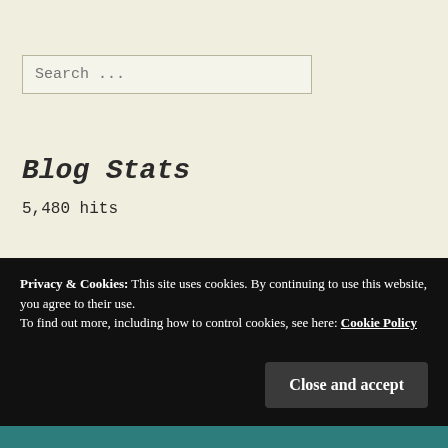Search ...
Blog Stats
5,480 hits
Archives
Privacy & Cookies: This site uses cookies. By continuing to use this website, you agree to their use. To find out more, including how to control cookies, see here: Cookie Policy
Close and accept